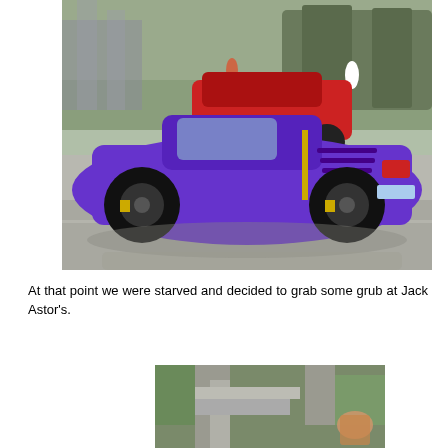[Figure (photo): A purple Lamborghini Gallardo parked on a city street. A red sports car is visible behind it. People and trees are visible in the background.]
At that point we were starved and decided to grab some grub at Jack Astor's.
[Figure (photo): A partial photo showing the exterior of what appears to be Jack Astor's restaurant, with stone columns and greenery visible.]